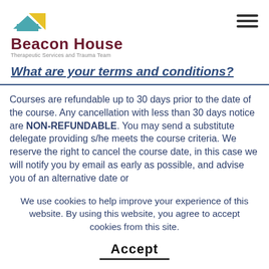Beacon House — Therapeutic Services and Trauma Team
What are your terms and conditions?
Courses are refundable up to 30 days prior to the date of the course. Any cancellation with less than 30 days notice are NON-REFUNDABLE. You may send a substitute delegate providing s/he meets the course criteria. We reserve the right to cancel the course date, in this case we will notify you by email as early as possible, and advise you of an alternative date or
We use cookies to help improve your experience of this website. By using this website, you agree to accept cookies from this site.
Accept